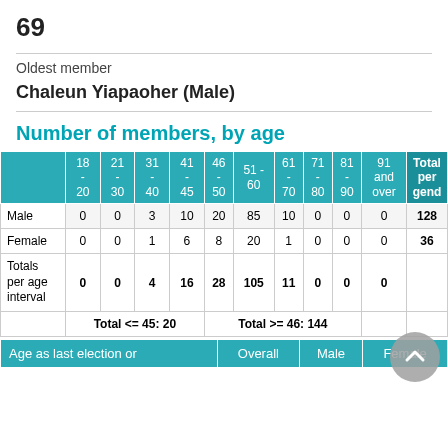69
Oldest member
Chaleun Yiapaoher (Male)
Number of members, by age
|  | 18-20 | 21-30 | 31-40 | 41-45 | 46-50 | 51-60 | 61-70 | 71-80 | 81-90 | 91 and over | Total per gender |
| --- | --- | --- | --- | --- | --- | --- | --- | --- | --- | --- | --- |
| Male | 0 | 0 | 3 | 10 | 20 | 85 | 10 | 0 | 0 | 0 | 128 |
| Female | 0 | 0 | 1 | 6 | 8 | 20 | 1 | 0 | 0 | 0 | 36 |
| Totals per age interval | 0 | 0 | 4 | 16 | 28 | 105 | 11 | 0 | 0 | 0 |  |
|  | Total <= 45: 20 |  |  |  | Total >= 46: 144 |  |  |  |  |  |
| Age as last election or | Overall | Male | Female |
| --- | --- | --- | --- |